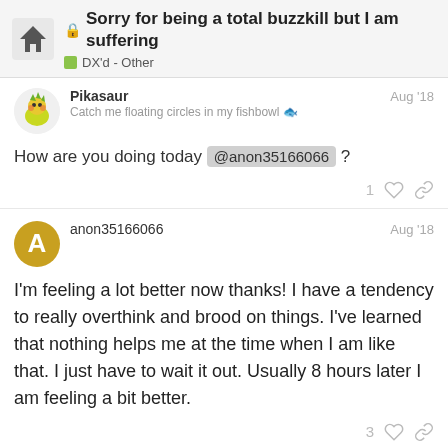Sorry for being a total buzzkill but I am suffering — DX'd - Other
Pikasaur
Catch me floating circles in my fishbowl 🐟
Aug '18
How are you doing today @anon35166066 ?
1
anon35166066
Aug '18
I'm feeling a lot better now thanks! I have a tendency to really overthink and brood on things. I've learned that nothing helps me at the time when I am like that. I just have to wait it out. Usually 8 hours later I am feeling a bit better.
3
Pikasaur
Catch me floating circles in my fishbow...
11 / 18